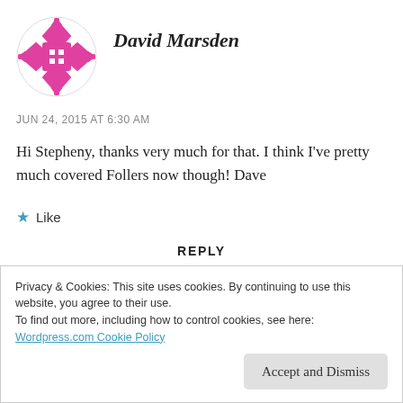[Figure (illustration): Pink geometric avatar icon for David Marsden]
David Marsden
JUN 24, 2015 AT 6:30 AM
Hi Stepheny, thanks very much for that. I think I've pretty much covered Follers now though! Dave
Like
REPLY
Privacy & Cookies: This site uses cookies. By continuing to use this website, you agree to their use.
To find out more, including how to control cookies, see here:
Wordpress.com Cookie Policy
Accept and Dismiss